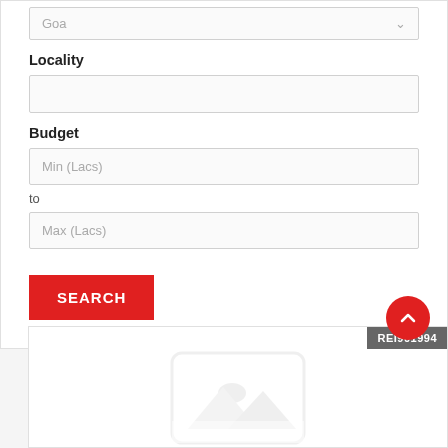Goa
Locality
Budget
Min (Lacs)
to
Max (Lacs)
SEARCH
REI901994
[Figure (other): Image placeholder icon — grey mountain/landscape silhouette in a rounded rectangle, indicating no image available]